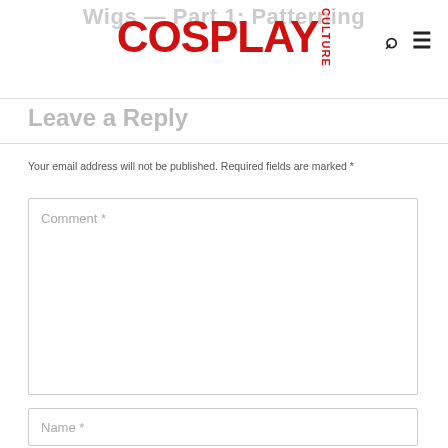Wigs — Part 1: Patterning
[Figure (logo): Cosplay Culture logo in red with CULTURE in vertical text]
Leave a Reply
Your email address will not be published. Required fields are marked *
Comment *
Name *